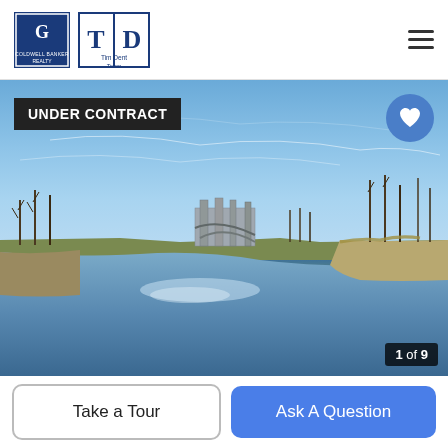[Figure (logo): Coldwell Banker Realty logo]
[Figure (logo): Tim Dent Team logo]
[Figure (photo): Outdoor river/waterway scene under blue sky with bare trees and a structure on the left bank. Badge reads UNDER CONTRACT. Image counter shows 1 of 9.]
UNDER CONTRACT
1 of 9
Take a Tour
Ask A Question